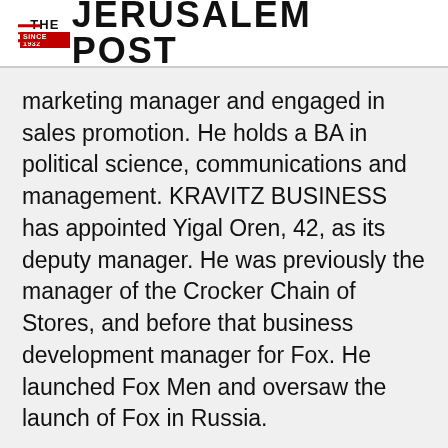THE JERUSALEM POST
marketing manager and engaged in sales promotion. He holds a BA in political science, communications and management. KRAVITZ BUSINESS has appointed Yigal Oren, 42, as its deputy manager. He was previously the manager of the Crocker Chain of Stores, and before that business development manager for Fox. He launched Fox Men and oversaw the launch of Fox in Russia.
Advertisement